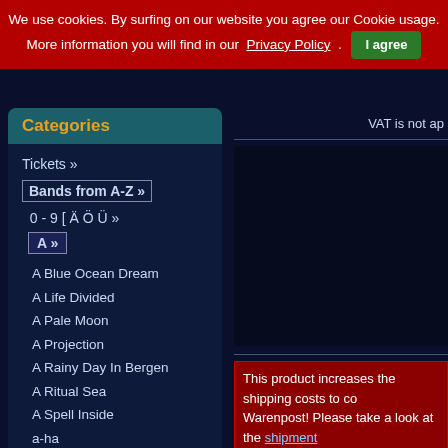We use cookies. By surfing on our website you agree our Cookie usage. More information you will find in our Privacy Policy . I agree
Categories
Tickets »
Bands from A-Z »
0 - 9 [ Ä Ö Ü »
A »
A Blue Ocean Dream
A Life Divided
A Pale Moon
A Projection
A Rainy Day In Bergen
A Ritual Sea
A Spell Inside
a-ha
A.M. Samurai
A.T.Mödell
A7IE
AADF
AAIMON
Aaron Sutcliffe
Abandoned Place
Aborted At Line 6
VAT is not ap
This product increases the shipping costs to co Warenpost! Please take a look at the shipment
Incredible but true – APOPTYGMA B 1993 (and that also launched ICON C request of Stephan Groth – leader of previously announced Canadian (Arto
It has regular sleeve, matt/reversed c